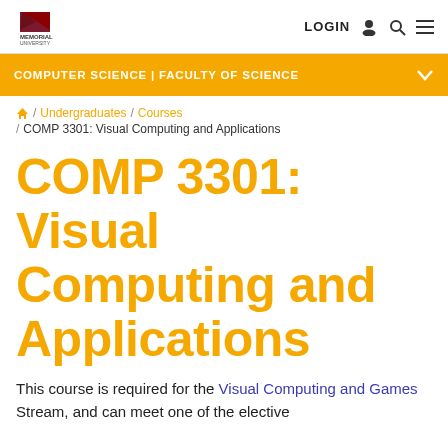Memorial University | LOGIN
COMPUTER SCIENCE | FACULTY OF SCIENCE
Home / Undergraduates / Courses / COMP 3301: Visual Computing and Applications
COMP 3301: Visual Computing and Applications
This course is required for the Visual Computing and Games Stream, and can meet one of the elective